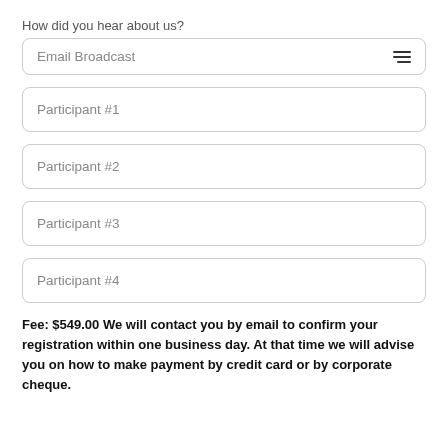How did you hear about us?
Email Broadcast
Participant #1
Participant #2
Participant #3
Participant #4
Fee: $549.00 We will contact you by email to confirm your registration within one business day. At that time we will advise you on how to make payment by credit card or by corporate cheque.